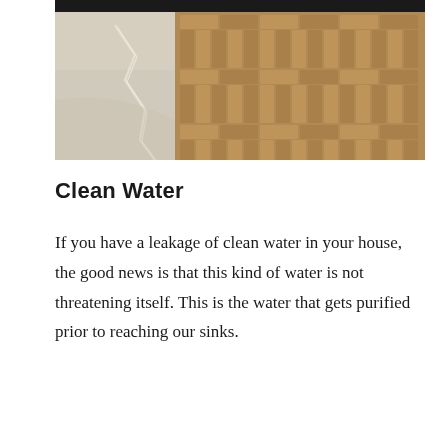[Figure (photo): Photo of a water-damaged hardwood parquet floor showing water pooling and cracking on the surface, with a dark object visible at the top edge.]
Clean Water
If you have a leakage of clean water in your house, the good news is that this kind of water is not threatening itself. This is the water that gets purified prior to reaching our sinks.